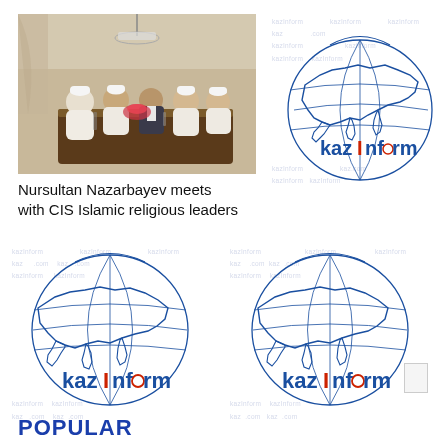[Figure (photo): Meeting scene: several men in white Islamic religious garments and white caps seated around a conference table with a man in a dark suit, indoor formal setting]
Nursultan Nazarbayev meets with CIS Islamic religious leaders
[Figure (logo): Kazinform logo: globe with Central Asia map outline and 'kazInform' text in blue and red]
[Figure (logo): Kazinform logo: globe with Central Asia map outline and 'kazInform' text in blue and red]
[Figure (logo): Kazinform logo: globe with Central Asia map outline and 'kazInform' text in blue and red]
POPULAR